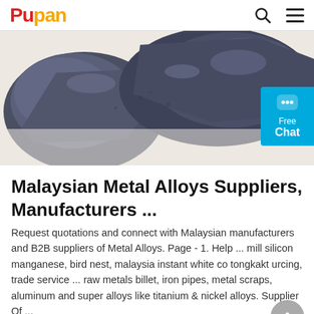Pupan
[Figure (photo): Dark gray/blue metallic ore or alloy chunks photographed on a light beige background, with a cyan 'Free Chat' button overlay on the right side.]
Malaysian Metal Alloys Suppliers, Manufacturers ...
Request quotations and connect with Malaysian manufacturers and B2B suppliers of Metal Alloys. Page - 1. Help ... mill silicon manganese, bird nest, malaysia instant white co tongkakt urcing, trade service ... raw metals billet, iron pipes, metal scraps, aluminum and super alloys like titanium & nickel alloys. Supplier Of ...